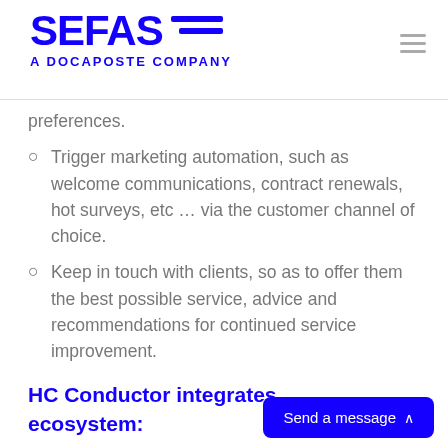SEFAS — A DOCAPOSTE COMPANY
preferences.
Trigger marketing automation, such as welcome communications, contract renewals, hot surveys, etc … via the customer channel of choice.
Keep in touch with clients, so as to offer them the best possible service, advice and recommendations for continued service improvement.
HC Conductor integrates ecosystem: